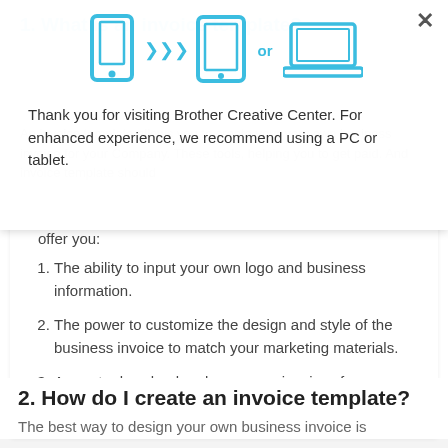[Figure (illustration): Three device icons (smartphone, tablet, laptop) with arrows between them suggesting cross-device compatibility]
Thank you for visiting Brother Creative Center. For enhanced experience, we recommend using a PC or tablet.
helping you to get paid. And invoice template should offer you:
The ability to input your own logo and business information.
The power to customize the design and style of the business invoice to match your marketing materials.
A way to download and save your invoices for your records, and to send them off quickly to clients.
2. How do I create an invoice template?
The best way to design your own business invoice is